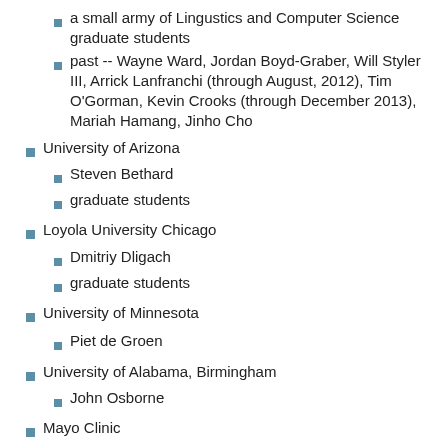a small army of Lingustics and Computer Science graduate students
past -- Wayne Ward, Jordan Boyd-Graber, Will Styler III, Arrick Lanfranchi (through August, 2012), Tim O'Gorman, Kevin Crooks (through December 2013), Mariah Hamang, Jinho Cho
University of Arizona
Steven Bethard
graduate students
Loyola University Chicago
Dmitriy Dligach
graduate students
University of Minnesota
Piet de Groen
University of Alabama, Birmingham
John Osborne
Mayo Clinic
past -- Piet de Groen, Brad Erickson, James Masanz (through July, 2015), Donna Ihrke (through December, 2012), Pauline Funk (through January, 2013)
Brandeis University
James Pustejovsky